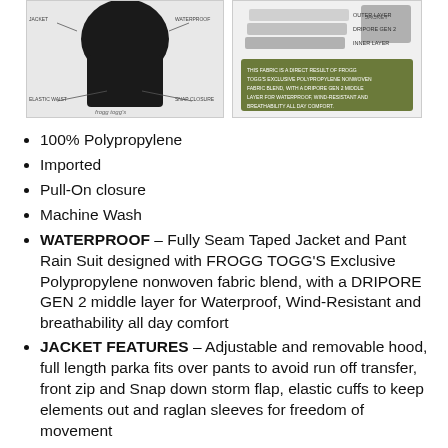[Figure (illustration): Two product images side by side: left shows a black rain jacket/suit with labeled callouts, right shows a layered fabric diagram with olive/green text box describing product features.]
100% Polypropylene
Imported
Pull-On closure
Machine Wash
WATERPROOF – Fully Seam Taped Jacket and Pant Rain Suit designed with FROGG TOGG'S Exclusive Polypropylene nonwoven fabric blend, with a DRIPORE GEN 2 middle layer for Waterproof, Wind-Resistant and breathability all day comfort
JACKET FEATURES – Adjustable and removable hood, full length parka fits over pants to avoid run off transfer, front zip and Snap down storm flap, elastic cuffs to keep elements out and raglan sleeves for freedom of movement
PANTS FEATURES – Fully adjustable elastic waistband...